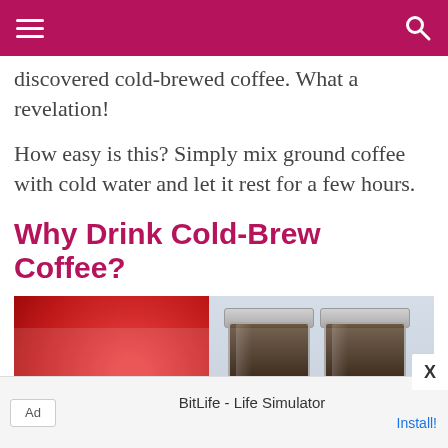discovered cold-brewed coffee. What a revelation!
How easy is this? Simply mix ground coffee with cold water and let it rest for a few hours.
Why Drink Cold-Brew Coffee?
[Figure (photo): Photo of a red Folgers coffee can next to two glass jars filled with cold-brewed coffee against a light background.]
Ad  BitLife - Life Simulator  Install!